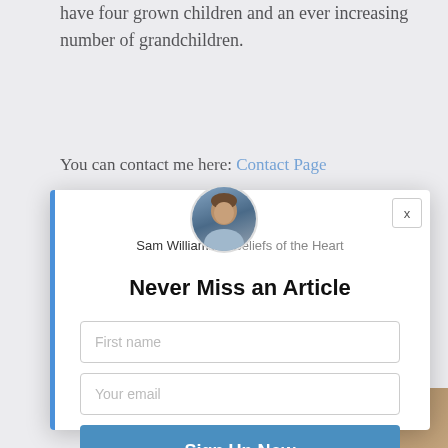have four grown children and an ever increasing number of grandchildren.
You can contact me here: Contact Page
[Figure (screenshot): A modal popup dialog for newsletter signup. Contains a circular avatar photo of a man, the author name 'Sam Williamson Beliefs of the Heart', a close button (X), a title 'Never Miss an Article', two input fields for First name and Your email, and a blue 'Sign Up Now' button. A blue left border accents the modal.]
[Figure (photo): Partial image at bottom showing a person holding a camera, with warm golden/brown tones.]